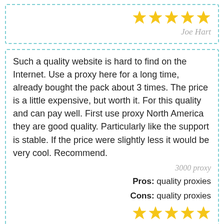[Figure (other): 5 gold stars rating]
Joe Hart
Such a quality website is hard to find on the Internet. Use a proxy here for a long time, already bought the pack about 3 times. The price is a little expensive, but worth it. For this quality and can pay well. First use proxy North America they are good quality. Particularly like the support is stable. If the price were slightly less it would be very cool. Recommend.
3000 proxy
Pros:  quality proxies
Cons:  quality proxies
[Figure (other): 5 gold stars rating]
Anton Bokalik